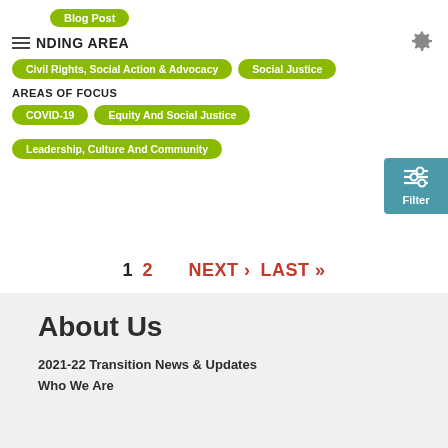Blog Post
NDING AREA
Civil Rights, Social Action & Advocacy
Social Justice
AREAS OF FOCUS
COVID-19
Equity And Social Justice
Leadership, Culture And Community
Filter
1  2  NEXT ›  LAST »
About Us
2021-22 Transition News & Updates
Who We Are